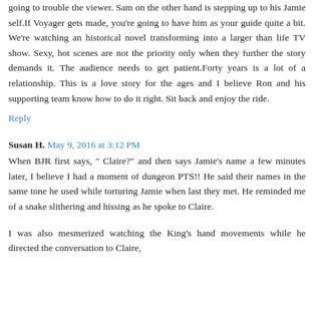going to trouble the viewer. Sam on the other hand is stepping up to his Jamie self.If Voyager gets made, you're going to have him as your guide quite a bit. We're watching an historical novel transforming into a larger than life TV show. Sexy, hot scenes are not the priority only when they further the story demands it. The audience needs to get patient.Forty years is a lot of a relationship. This is a love story for the ages and I believe Ron and his supporting team know how to do it right. Sit back and enjoy the ride.
Reply
Susan H. May 9, 2016 at 3:12 PM
When BJR first says, " Claire?" and then says Jamie's name a few minutes later, I believe I had a moment of dungeon PTS!! He said their names in the same tone he used while torturing Jamie when last they met. He reminded me of a snake slithering and hissing as he spoke to Claire.
I was also mesmerized watching the King's hand movements while he directed the conversation to Claire,